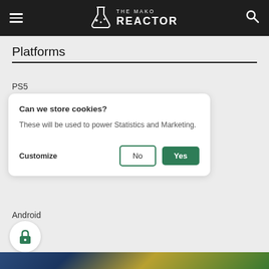THE MAKO REACTOR
Platforms
PS5
Can we store cookies? These will be used to power Statistics and Marketing.
Customize  No  Yes
Android
[Figure (other): Bottom image strip showing colorful background]